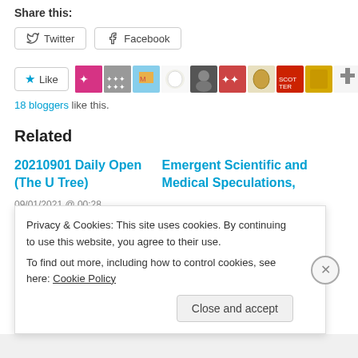Share this:
Twitter  Facebook
Like  18 bloggers like this.
Related
20210901 Daily Open (The U Tree)
09/01/2021 @ 00:28
With 729 comments
Emergent Scientific and Medical Speculations,
Privacy & Cookies: This site uses cookies. By continuing to use this website, you agree to their use.
To find out more, including how to control cookies, see here: Cookie Policy
Close and accept